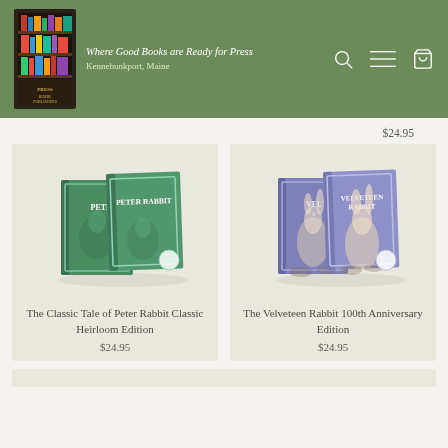Where Good Books are Ready for Press — Kennebunkport, Maine
$24.95
[Figure (photo): The Classic Tale of Peter Rabbit Classic Heirloom Edition book displayed showing cover]
The Classic Tale of Peter Rabbit Classic Heirloom Edition
$24.95
[Figure (photo): The Velveteen Rabbit 100th Anniversary Edition book displayed showing cover]
The Velveteen Rabbit 100th Anniversary Edition
$24.95